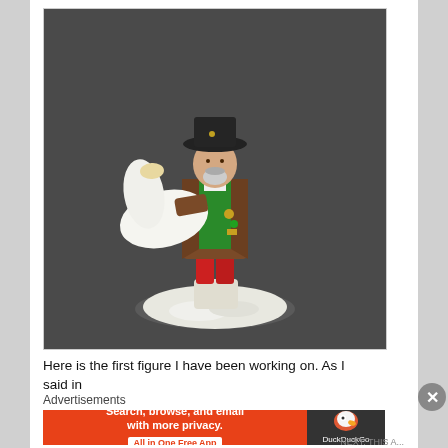[Figure (photo): A painted miniature figurine of a historical or fantasy character standing on a white snowy base. The figure wears a dark hat, brown coat, red outfit underneath with green details, and holds a large white scroll or paper. The background is dark gray.]
Here is the first figure I have been working on. As I said in
Advertisements
[Figure (screenshot): DuckDuckGo advertisement banner. Orange background on left with text: 'Search, browse, and email with more privacy. All in One Free App'. Dark right side with DuckDuckGo duck logo and text 'DuckDuckGo'.]